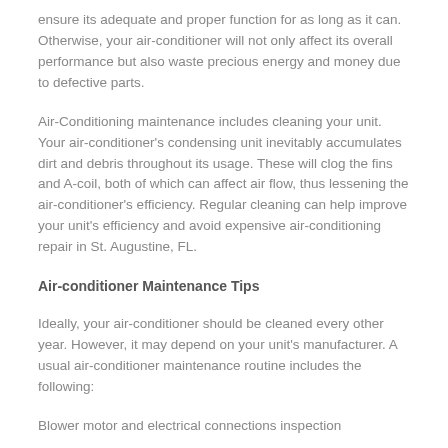ensure its adequate and proper function for as long as it can. Otherwise, your air-conditioner will not only affect its overall performance but also waste precious energy and money due to defective parts.
Air-Conditioning maintenance includes cleaning your unit. Your air-conditioner's condensing unit inevitably accumulates dirt and debris throughout its usage. These will clog the fins and A-coil, both of which can affect air flow, thus lessening the air-conditioner's efficiency. Regular cleaning can help improve your unit's efficiency and avoid expensive air-conditioning repair in St. Augustine, FL.
Air-conditioner Maintenance Tips
Ideally, your air-conditioner should be cleaned every other year. However, it may depend on your unit's manufacturer. A usual air-conditioner maintenance routine includes the following:
Blower motor and electrical connections inspection
Checking the A-coil pressures, and thermostat